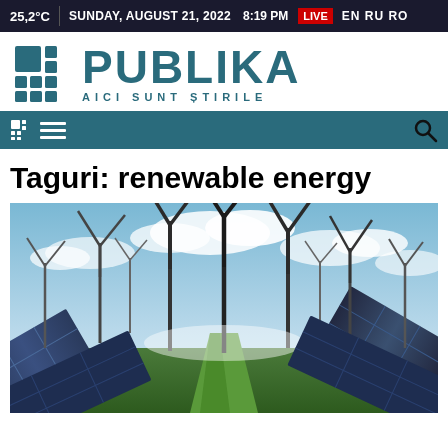25,2°C  SUNDAY, AUGUST 21, 2022  8:19 PM  LIVE  EN RU RO
[Figure (logo): Publika news logo with teal grid icon and text PUBLIKA AICI SUNT ȘTIRILE]
[Figure (screenshot): Teal navigation bar with grid icon and hamburger menu icon on the left, search icon on the right]
Taguri: renewable energy
[Figure (photo): Photo of wind turbines and solar panels under a cloudy sky, representing renewable energy]